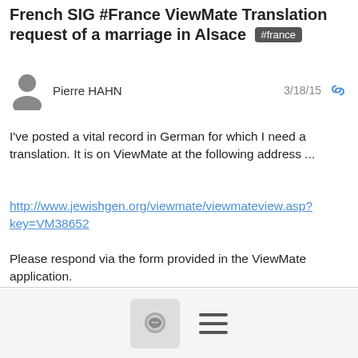French SIG #France ViewMate Translation request of a marriage in Alsace #france
Pierre HAHN  3/18/15
I've posted a vital record in German for which I need a translation. It is on ViewMate at the following address ...
http://www.jewishgen.org/viewmate/viewmateview.asp?key=VM38652
Please respond via the form provided in the ViewMate application.
Thank you very much.
--
Pierre M Hahn, San Francisco
[Figure (other): Footer bar with comment bubble icon button and hamburger menu icon]